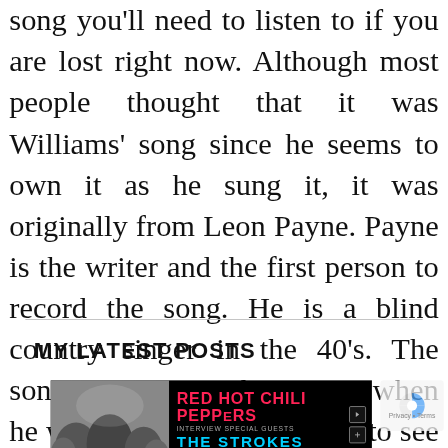song you'll need to listen to if you are lost right now. Although most people thought that it was Williams' song since he seems to own it as he sung it, it was originally from Leon Payne. Payne is the writer and the first person to record the song. He is a blind country singer in the 40's. The song was written by Payne when he was hitchhiking for a ride to see his mother.
MY LATEST POSTS
[Figure (photo): Advertisement banner showing Red Hot Chili Peppers, The Strokes, and Thundercat concert promotion with a black and white photo on the left side]